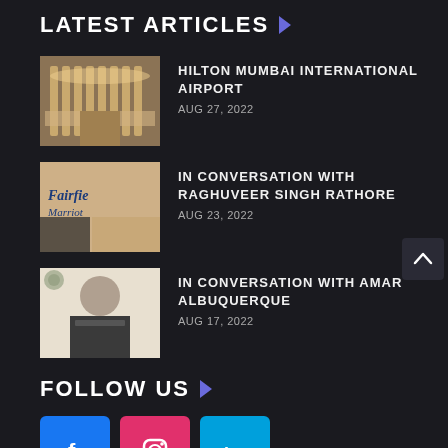LATEST ARTICLES
HILTON MUMBAI INTERNATIONAL AIRPORT | AUG 27, 2022
IN CONVERSATION WITH RAGHUVEER SINGH RATHORE | AUG 23, 2022
IN CONVERSATION WITH AMAR ALBUQUERQUE | AUG 17, 2022
FOLLOW US
[Figure (infographic): Three social media icons: Facebook (blue), Instagram (pink/red), LinkedIn (light blue)]